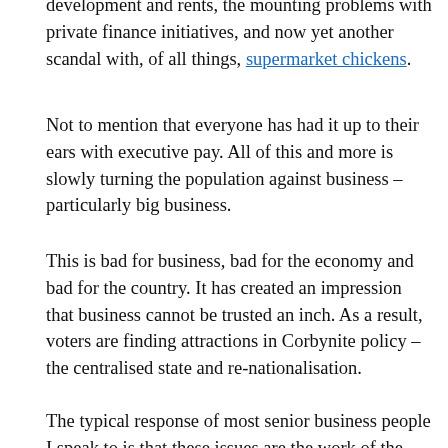development and rents, the mounting problems with private finance initiatives, and now yet another scandal with, of all things, supermarket chickens.
Not to mention that everyone has had it up to their ears with executive pay. All of this and more is slowly turning the population against business – particularly big business.
This is bad for business, bad for the economy and bad for the country. It has created an impression that business cannot be trusted an inch. As a result, voters are finding attractions in Corbynite policy – the centralised state and re-nationalisation.
The typical response of most senior business people I speak to is that these issues are the work of the isolated few. Most businesses are good and ethical businesses.